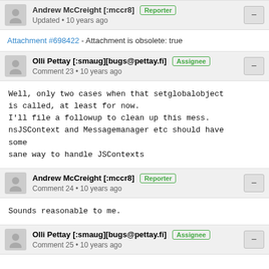Andrew McCreight [:mccr8] Reporter — Updated • 10 years ago
Attachment #698422 - Attachment is obsolete: true
Olli Pettay [:smaug][bugs@pettay.fi] Assignee — Comment 23 • 10 years ago
Well, only two cases when that setglobalobject is called, at least for now.
I'll file a followup to clean up this mess.
nsJSContext and Messagemanager etc should have some
sane way to handle JSContexts
Andrew McCreight [:mccr8] Reporter — Comment 24 • 10 years ago
Sounds reasonable to me.
Olli Pettay [:smaug][bugs@pettay.fi] Assignee — Comment 25 • 10 years ago